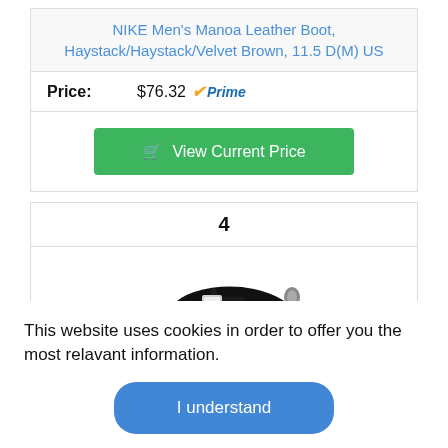NIKE Men's Manoa Leather Boot, Haystack/Haystack/Velvet Brown, 11.5 D(M) US
Price: $76.32 Prime
[Figure (other): Green 'View Current Price' button with shopping cart icon]
4
[Figure (photo): Black Skechers sneaker shoe with laces, side view showing the S logo]
This website uses cookies in order to offer you the most relavant information.
[Figure (other): Blue rounded 'I understand' button for cookie consent]